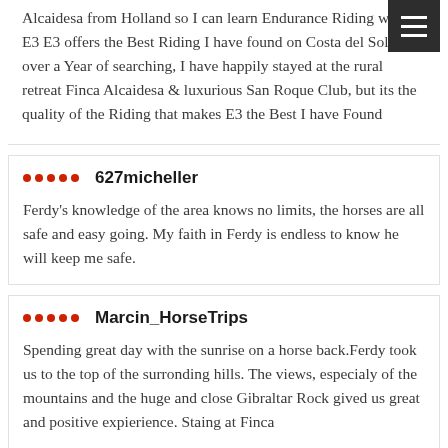Alcaidesa from Holland so I can learn Endurance Riding with E3 E3 offers the Best Riding I have found on Costa del Sol after over a Year of searching, I have happily stayed at the rural retreat Finca Alcaidesa & luxurious San Roque Club, but its the quality of the Riding that makes E3 the Best I have Found
627micheller
Ferdy's knowledge of the area knows no limits, the horses are all safe and easy going. My faith in Ferdy is endless to know he will keep me safe.
Marcin_HorseTrips
Spending great day with the sunrise on a horse back.Ferdy took us to the top of the surronding hills. The views, especialy of the mountains and the huge and close Gibraltar Rock gived us great and positive expierience. Staing at Finca